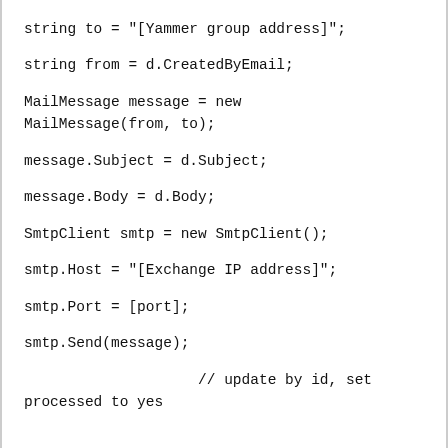string to = "[Yammer group address]";

string from = d.CreatedByEmail;

MailMessage message = new
MailMessage(from, to);

message.Subject = d.Subject;

message.Body = d.Body;

SmtpClient smtp = new SmtpClient();

smtp.Host = "[Exchange IP address]";

smtp.Port = [port];

smtp.Send(message);

                    // update by id, set
processed to yes